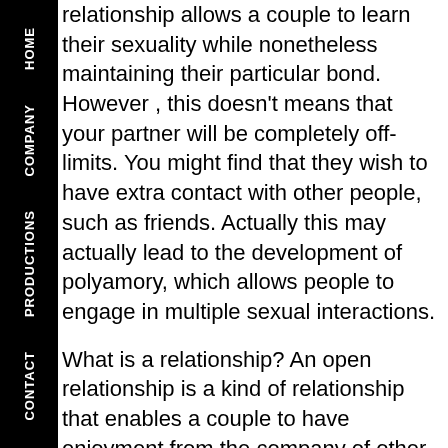HOME COMPANY PRODUCTIONS CONTACT
relationship allows a couple to learn their sexuality while nonetheless maintaining their particular bond. However , this doesn't means that your partner will be completely off-limits. You might find that they wish to have extra contact with other people, such as friends. Actually this may actually lead to the development of polyamory, which allows people to engage in multiple sexual interactions.
What is a relationship? An open relationship is a kind of relationship that enables a couple to have enjoyment from the company of other companions outside of the core marriage. While open up relationships can be risky, they can end up being extremely enjoyable. If you along with your partner decide to step outside traditional monogamous relationships, an open relationship is definitely the way to go. This is simply not for everyone.